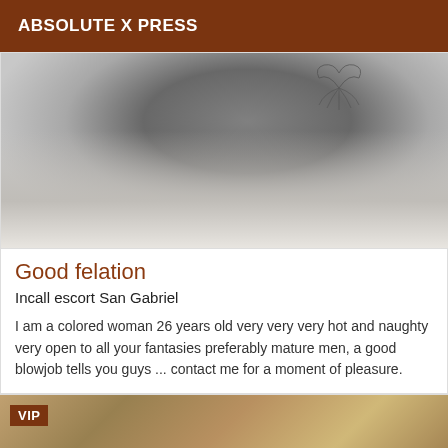ABSOLUTE X PRESS
[Figure (photo): Grayscale close-up photo of a person with a tattoo visible, lying on white bedding/pillow]
Good felation
Incall escort San Gabriel
I am a colored woman 26 years old very very very hot and naughty very open to all your fantasies preferably mature men, a good blowjob tells you guys ... contact me for a moment of pleasure.
[Figure (photo): Bottom of page showing a VIP badge in brown/rust color over a partially visible outdoor/nature photo]